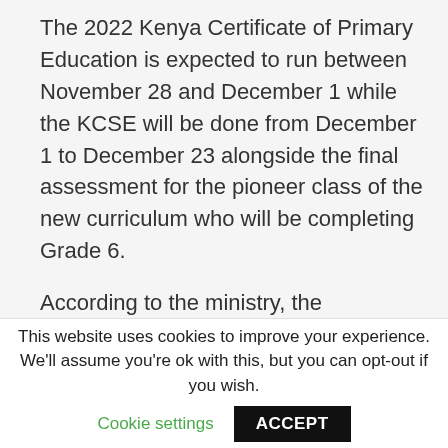The 2022 Kenya Certificate of Primary Education is expected to run between November 28 and December 1 while the KCSE will be done from December 1 to December 23 alongside the final assessment for the pioneer class of the new curriculum who will be completing Grade 6.
According to the ministry, the candidates have until April 1 to submit their choice of courses.
Starting February 28, both candidates and
This website uses cookies to improve your experience. We'll assume you're ok with this, but you can opt-out if you wish.
Cookie settings
ACCEPT